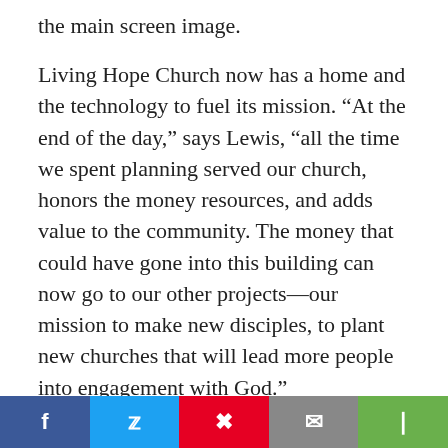the main screen image.
Living Hope Church now has a home and the technology to fuel its mission. “At the end of the day,” says Lewis, “all the time we spent planning served our church, honors the money resources, and adds value to the community. The money that could have gone into this building can now go to our other projects—our mission to make new disciples, to plant new churches that will lead more people into engagement with God.”
Andy McDonough
Andy McDonough is a founder, senior pastor, and...